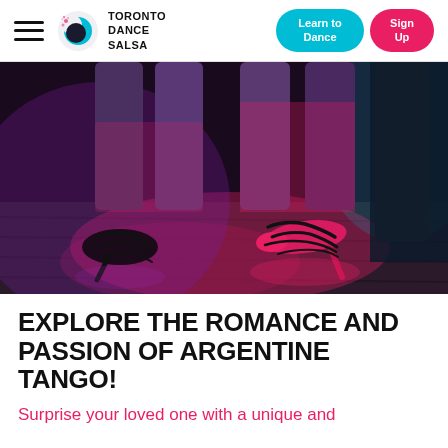Toronto Dance Salsa | Learn to Dance | Sign Up
[Figure (photo): Close-up photo of tango dancer feet in high-heeled strappy dance shoes on a wooden dance floor, lit with pink, magenta, and blue/teal dramatic stage lighting. Jeans-clad legs visible above. Dark background with another figure in the back right corner.]
EXPLORE THE ROMANCE AND PASSION OF ARGENTINE TANGO!
Surprise your loved one with a unique and